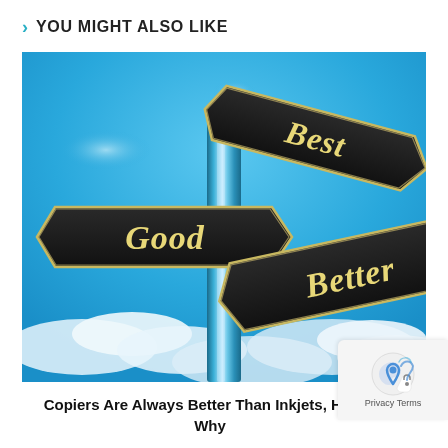YOU MIGHT ALSO LIKE
[Figure (photo): A signpost with three arrow signs pointing in different directions against a blue sky with clouds. The signs read 'Good' (pointing left), 'Best' (pointing upper right), and 'Better' (pointing lower right). The pole is metallic and reflective.]
Copiers Are Always Better Than Inkjets, Here's Why